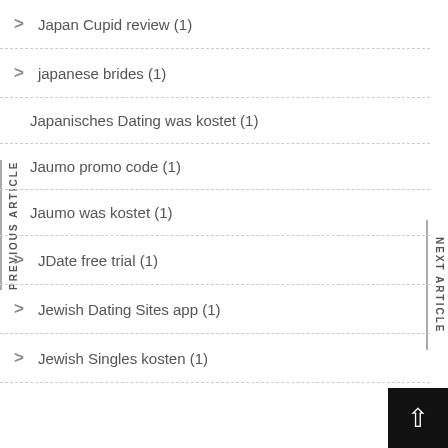Japan Cupid review (1)
japanese brides (1)
Japanisches Dating was kostet (1)
Jaumo promo code (1)
Jaumo was kostet (1)
JDate free trial (1)
Jewish Dating Sites app (1)
Jewish Singles kosten (1)